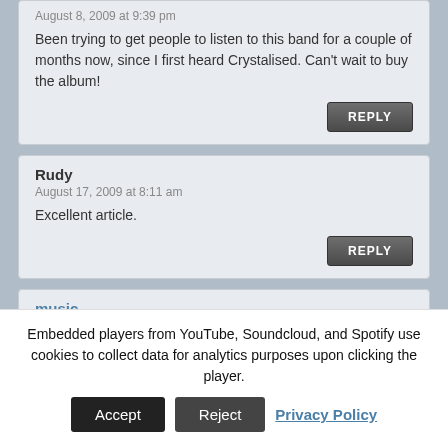August 8, 2009 at 9:39 pm
Been trying to get people to listen to this band for a couple of months now, since I first heard Crystalised. Can't wait to buy the album!
REPLY
Rudy
August 17, 2009 at 8:11 am
Excellent article.
REPLY
music
August 18, 2009 at 8:59 am
i like the xx.
Embedded players from YouTube, Soundcloud, and Spotify use cookies to collect data for analytics purposes upon clicking the player.
Accept
Reject
Privacy Policy